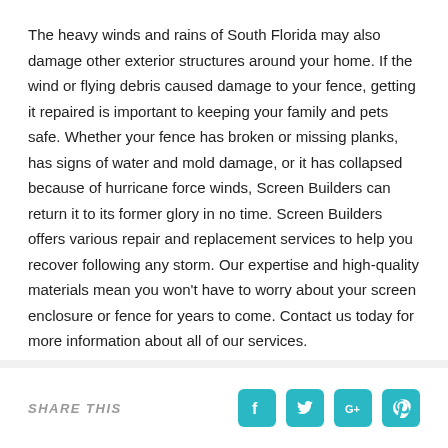The heavy winds and rains of South Florida may also damage other exterior structures around your home. If the wind or flying debris caused damage to your fence, getting it repaired is important to keeping your family and pets safe. Whether your fence has broken or missing planks, has signs of water and mold damage, or it has collapsed because of hurricane force winds, Screen Builders can return it to its former glory in no time. Screen Builders offers various repair and replacement services to help you recover following any storm. Our expertise and high-quality materials mean you won't have to worry about your screen enclosure or fence for years to come. Contact us today for more information about all of our services.
SHARE THIS